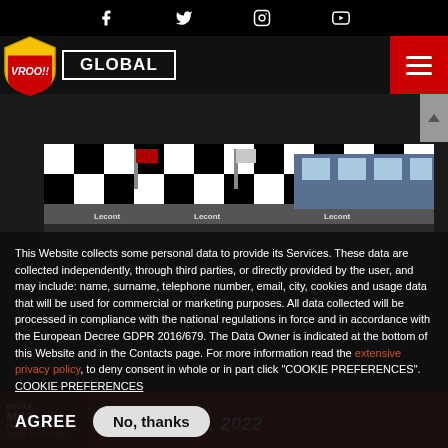Social media icons: Facebook, Twitter, Instagram, YouTube
[Figure (logo): Vroo!! motorsport website logo with shield and GLOBAL navigation bar with hamburger menu]
[Figure (photo): Racing podium with checkered flag banners and flags, sponsors Lecont visible]
This Website collects some personal data to provide its Services. These data are collected independently, through third parties, or directly provided by the user, and may include: name, surname, telephone number, email, city, cookies and usage data that will be used for commercial or marketing purposes. All data collected will be processed in compliance with the national regulations in force and in accordance with the European Decree GDPR 2016/679. The Data Owner is indicated at the bottom of this Website and in the Contacts page. For more information read the extensive privacy policy, to deny consent in whole or in part click "COOKIE PREFERENCES". COOKIE PREFERENCES
AGREE
No, thanks
[Figure (photo): Rotax Max Challenge Grand Finals 2022 banner - PORTIMÃO / PORTUGAL, NOV 19-26, 2022]